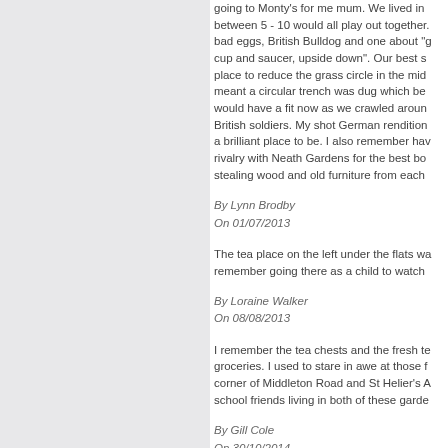going to Monty's for me mum. We lived in between 5 - 10 would all play out together. bad eggs, British Bulldog and one about "g cup and saucer, upside down". Our best s place to reduce the grass circle in the mid meant a circular trench was dug which be would have a fit now as we crawled aroun British soldiers. My shot German rendition a brilliant place to be. I also remember ha rivalry with Neath Gardens for the best bo stealing wood and old furniture from each
By Lynn Brodby
On 01/07/2013
The tea place on the left under the flats wa remember going there as a child to watch
By Loraine Walker
On 08/08/2013
I remember the tea chests and the fresh te groceries. I used to stare in awe at those f corner of Middleton Road and St Helier's A school friends living in both of these garde
By Gill Cole
On 30/10/2014
Anyone remember the barrow selling swee